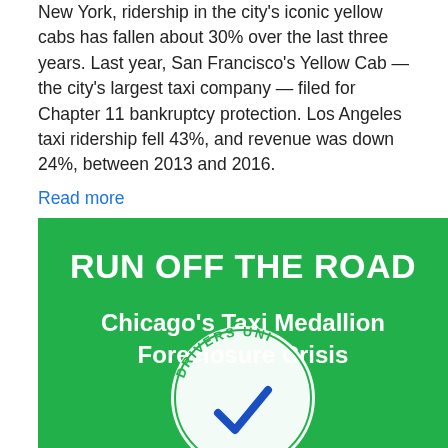New York, ridership in the city's iconic yellow cabs has fallen about 30% over the last three years. Last year, San Francisco's Yellow Cab — the city's largest taxi company — filed for Chapter 11 bankruptcy protection. Los Angeles taxi ridership fell 43%, and revenue was down 24%, between 2013 and 2016.
Read more
[Figure (infographic): Green banner with white bold text reading 'RUN OFF THE ROAD' and subtitle 'Chicago's Taxi Medallion Foreclosure Crisis', with partial Drivers Union logo at the bottom]